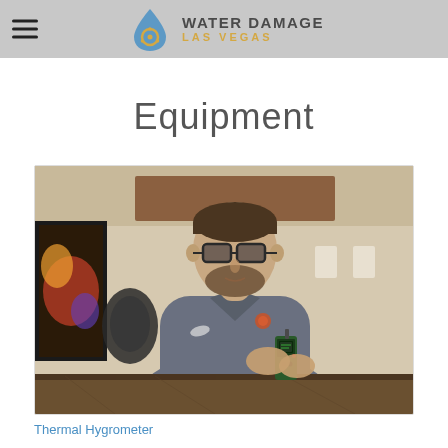Water Damage Las Vegas
Equipment
[Figure (photo): A man wearing glasses and a gray polo shirt holding a green handheld device (Thermal Hygrometer) while seated at a counter/desk. There is a framed artwork on the left and a rolled hose visible. The setting appears to be an office or showroom.]
Thermal Hygrometer